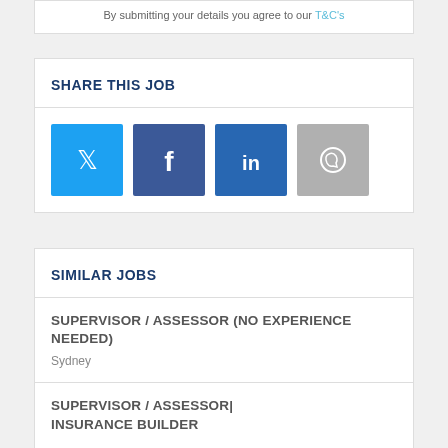By submitting your details you agree to our T&C's
SHARE THIS JOB
[Figure (other): Social share buttons: Twitter (blue), Facebook (dark blue), LinkedIn (blue), WhatsApp (grey)]
SIMILAR JOBS
SUPERVISOR / ASSESSOR (NO EXPERIENCE NEEDED)
Sydney
SUPERVISOR / ASSESSOR| INSURANCE BUILDER